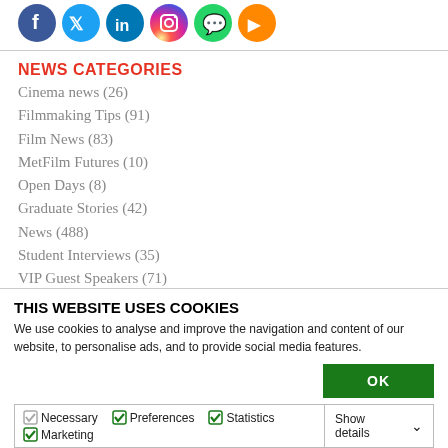[Figure (illustration): Social media icons row: Facebook (blue), Twitter (light blue), LinkedIn (blue), Instagram (gradient), WhatsApp (green), and an orange icon]
NEWS CATEGORIES
Cinema news (26)
Filmmaking Tips (91)
Film News (83)
MetFilm Futures (10)
Open Days (8)
Graduate Stories (42)
News (488)
Student Interviews (35)
VIP Guest Speakers (71)
THIS WEBSITE USES COOKIES
We use cookies to analyse and improve the navigation and content of our website, to personalise ads, and to provide social media features.
OK
Necessary  Preferences  Statistics  Marketing  Show details